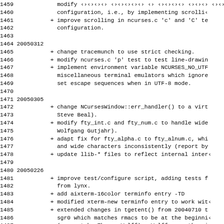Changelog entries for ncurses, lines 1459-1491, showing dates 20050312, 20050305, 20050226 with changelog items